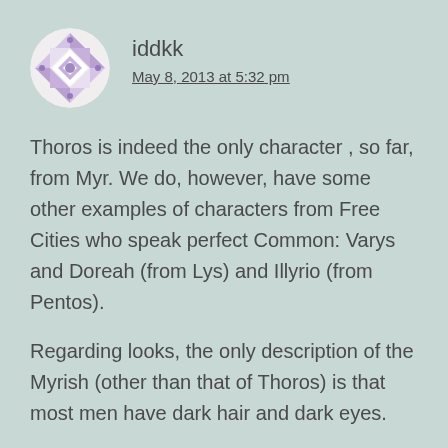[Figure (illustration): Circular avatar icon with a geometric snowflake/diamond pattern in purple and white colors]
iddkk
May 8, 2013 at 5:32 pm
Thoros is indeed the only character , so far, from Myr. We do, however, have some other examples of characters from Free Cities who speak perfect Common: Varys and Doreah (from Lys) and Illyrio (from Pentos).
Regarding looks, the only description of the Myrish (other than that of Thoros) is that most men have dark hair and dark eyes.